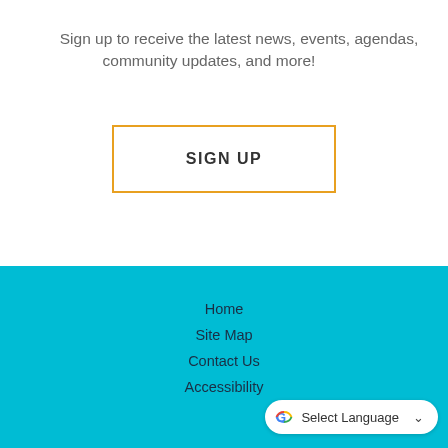Sign up to receive the latest news, events, agendas, community updates, and more!
[Figure (other): Orange-bordered SIGN UP button]
Home
Site Map
Contact Us
Accessibility
[Figure (other): Google Translate widget with G logo and Select Language dropdown]